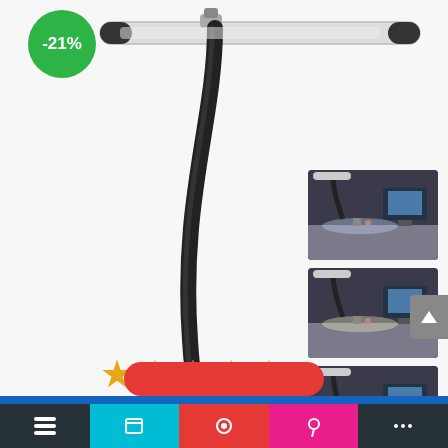[Figure (photo): Product listing screenshot for a clip-on LED desk lamp with flexible gooseneck, shown on white background. A -21% discount badge (green circle) is in the top-left. Three thumbnail images of the lamp in use are on the right side, showing different color temperatures. Five gold star rating icons are shown below the lamp image. A red pill-shaped button and a bottom navigation toolbar are visible at the bottom.]